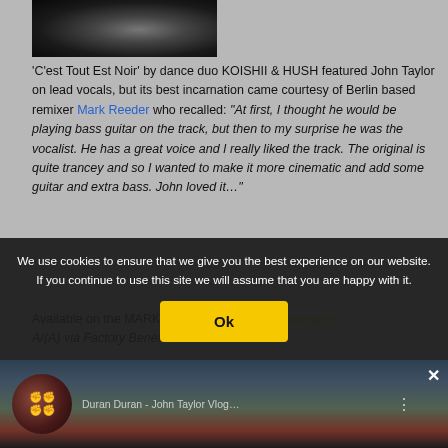[Figure (photo): Dark/black photograph of a partially lit subject against black background]
'C'est Tout Est Noir' by dance duo KOISHII & HUSH featured John Taylor on lead vocals, but its best incarnation came courtesy of Berlin based remixer Mark Reeder who recalled: "At first, I thought he would be playing bass guitar on the track, but then to my surprise he was the vocalist. He has a great voice and I really liked the track. The original is quite trancey and so I wanted to make it more cinematic and add some guitar and extra bass. John loved it..."
Available on the MARK REEDER album 'Collaborator' A/(A) via Factory Benelux.
We use cookies to ensure that we give you the best experience on our website. If you continue to use this site we will assume that you are happy with it.
[Figure (screenshot): Video thumbnail showing Duran Duran - John Taylor Vlog with circular profile image and landscape background]